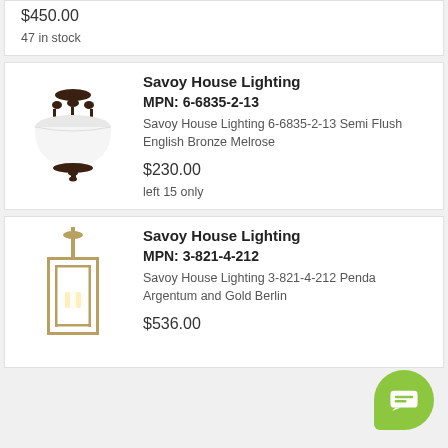$450.00
47 in stock
[Figure (photo): Semi-flush ceiling light fixture with dark bronze finish and white dome shade]
Savoy House Lighting
MPN: 6-6835-2-13
Savoy House Lighting 6-6835-2-13 Semi Flush English Bronze Melrose
$230.00
left 15 only
[Figure (photo): Pendant light fixture with rectangular gold/brass metal cage frame and interior candle bulbs]
Savoy House Lighting
MPN: 3-821-4-212
Savoy House Lighting 3-821-4-212 Pendant Argentum and Gold Berlin
$536.00